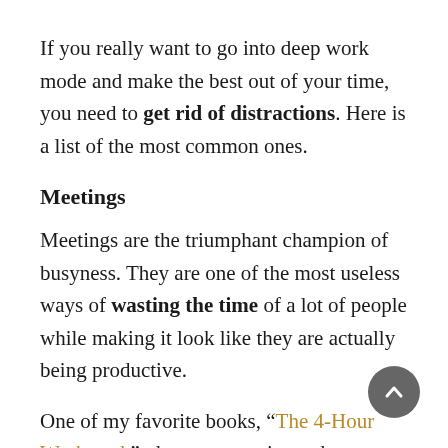If you really want to go into deep work mode and make the best out of your time, you need to get rid of distractions. Here is a list of the most common ones.
Meetings
Meetings are the triumphant champion of busyness. They are one of the most useless ways of wasting the time of a lot of people while making it look like they are actually being productive.
One of my favorite books, “The 4-Hour Workweek”, devotes a section to how to avoid them